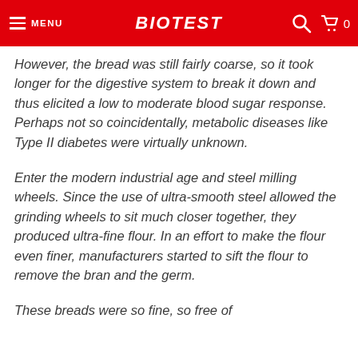MENU | BIOTEST | 0
However, the bread was still fairly coarse, so it took longer for the digestive system to break it down and thus elicited a low to moderate blood sugar response. Perhaps not so coincidentally, metabolic diseases like Type II diabetes were virtually unknown.
Enter the modern industrial age and steel milling wheels. Since the use of ultra-smooth steel allowed the grinding wheels to sit much closer together, they produced ultra-fine flour. In an effort to make the flour even finer, manufacturers started to sift the flour to remove the bran and the germ.
These breads were so fine, so free of